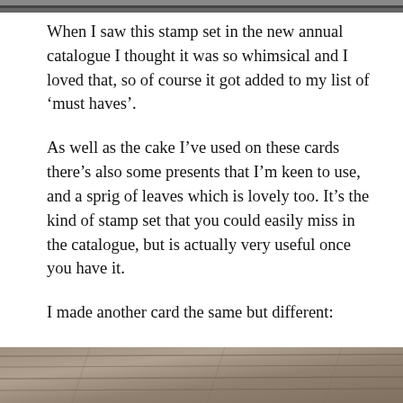[Figure (photo): Top edge of a photo, dark background, partially cropped]
When I saw this stamp set in the new annual catalogue I thought it was so whimsical and I loved that, so of course it got added to my list of ‘must haves’.
As well as the cake I’ve used on these cards there’s also some presents that I’m keen to use, and a sprig of leaves which is lovely too. It’s the kind of stamp set that you could easily miss in the catalogue, but is actually very useful once you have it.
I made another card the same but different:
[Figure (photo): Bottom portion of a photo showing a dark wood grain surface, partially cropped]